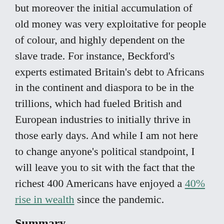but moreover the initial accumulation of old money was very exploitative for people of colour, and highly dependent on the slave trade. For instance, Beckford's experts estimated Britain's debt to Africans in the continent and diaspora to be in the trillions, which had fueled British and European industries to initially thrive in those early days. And while I am not here to change anyone's political standpoint, I will leave you to sit with the fact that the richest 400 Americans have enjoyed a 40% rise in wealth since the pandemic.
Summary
To sum this up, I hope that this post has made